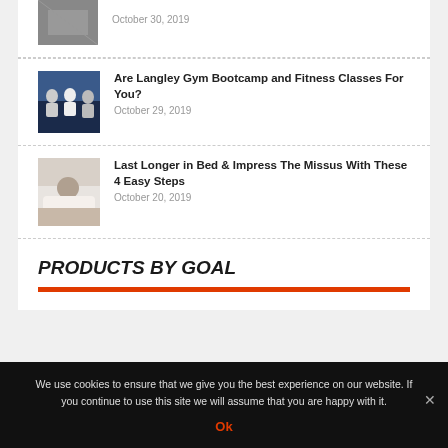[Figure (photo): Partial thumbnail image of a gym or fitness related scene, cropped at top]
October 30, 2019
[Figure (photo): Group fitness class photo with people doing exercises on blue mats]
Are Langley Gym Bootcamp and Fitness Classes For You?
October 29, 2019
[Figure (photo): Person sleeping or resting in bed with white sheets]
Last Longer in Bed & Impress The Missus With These 4 Easy Steps
October 20, 2019
PRODUCTS BY GOAL
We use cookies to ensure that we give you the best experience on our website. If you continue to use this site we will assume that you are happy with it.
Ok